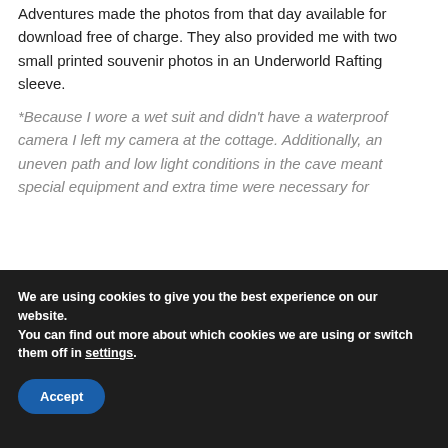Adventures made the photos from that day available for download free of charge. They also provided me with two small printed souvenir photos in an Underworld Rafting sleeve.
*Because I wore a wet suit and didn't have a waterproof camera I left my camera at the cottage. Additionally, an uneven path and low light conditions in the cave meant special equipment and extra time were necessary for
We are using cookies to give you the best experience on our website.
You can find out more about which cookies we are using or switch them off in settings.
Accept